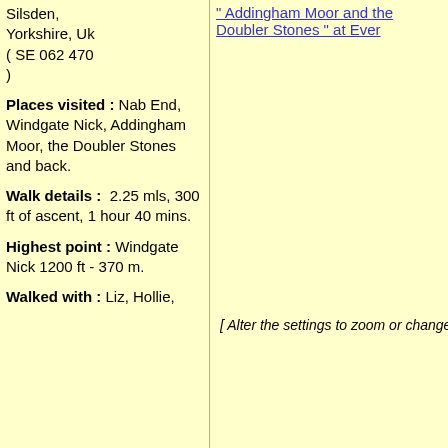Silsden, Yorkshire, Uk ( SE 062 470 )
" Addingham Moor and the Doubler Stones " at Ever
Places visited : Nab End, Windgate Nick, Addingham Moor, the Doubler Stones and back.
Walk details : 2.25 mls, 300 ft of ascent, 1 hour 40 mins.
Highest point : Windgate Nick 1200 ft - 370 m.
Walked with : Liz, Hollie,
[ Alter the settings to zoom or change the Map, use Everytrail to download the